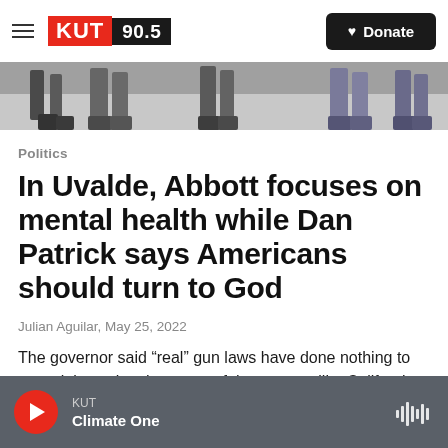KUT 90.5 | Donate
[Figure (photo): Cropped photo showing people's feet and legs walking, likely a crowd scene]
Politics
In Uvalde, Abbott focuses on mental health while Dan Patrick says Americans should turn to God
Julian Aguilar, May 25, 2022
The governor said “real” gun laws have done nothing to stop violence in other parts of the country, like California, New York and Chicago.
KUT | Climate One